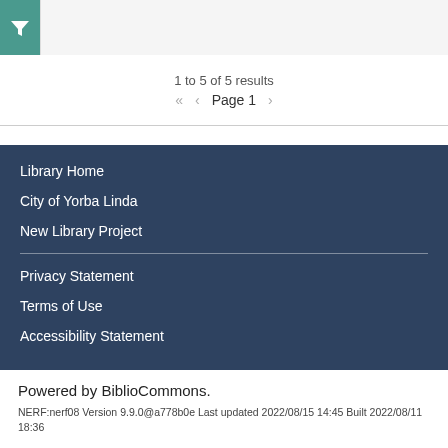1 to 5 of 5 results
« < Page 1 >
Library Home
City of Yorba Linda
New Library Project
Privacy Statement
Terms of Use
Accessibility Statement
Powered by BiblioCommons.
NERF:nerf08 Version 9.9.0@a778b0e Last updated 2022/08/15 14:45 Built 2022/08/11 18:36